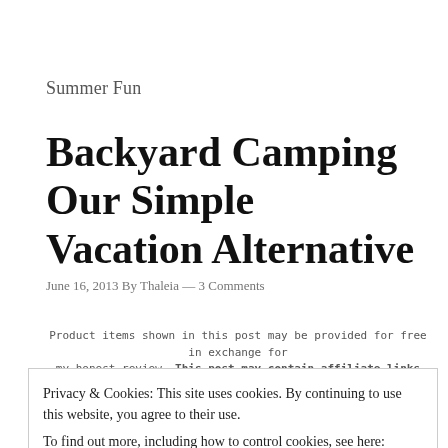Summer Fun
Backyard Camping Our Simple Vacation Alternative
June 16, 2013 By Thaleia — 3 Comments
Product items shown in this post may be provided for free in exchange for my honest review. This post may contain affiliate links or sponsored content. I am disclosing this in accordance with the Federal Trade
Privacy & Cookies: This site uses cookies. By continuing to use this website, you agree to their use.
To find out more, including how to control cookies, see here: Cookie Policy
Close and accept